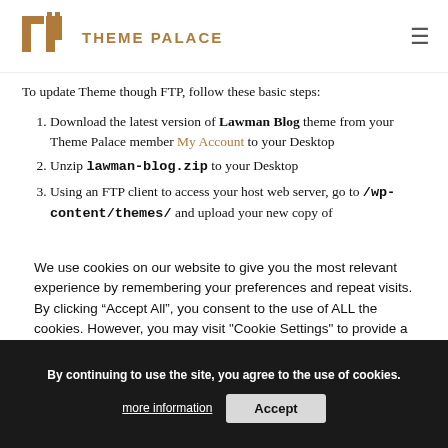THEME PALACE
To update Theme though FTP, follow these basic steps:
Download the latest version of Lawman Blog theme from your Theme Palace member My Account to your Desktop
Unzip lawman-blog.zip to your Desktop
Using an FTP client to access your host web server, go to /wp-content/themes/ and upload your new copy of
We use cookies on our website to give you the most relevant experience by remembering your preferences and repeat visits. By clicking “Accept All”, you consent to the use of ALL the cookies. However, you may visit "Cookie Settings" to provide a controlled consent
By continuing to use the site, you agree to the use of cookies.
more information
Accept